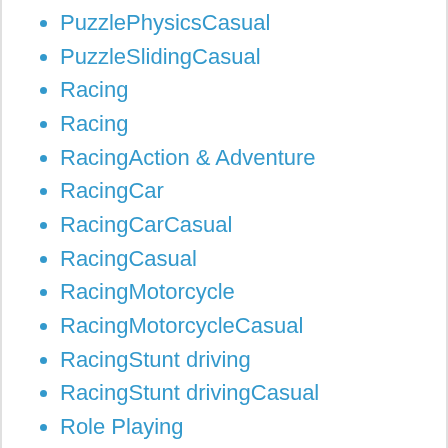PuzzlePhysicsCasual
PuzzleSlidingCasual
Racing
Racing
RacingAction & Adventure
RacingCar
RacingCarCasual
RacingCasual
RacingMotorcycle
RacingMotorcycleCasual
RacingStunt driving
RacingStunt drivingCasual
Role Playing
Role Playing
Role PlayingAction & Adventure
Role PlayingPretend Play
Role-playing
Role-playingAction Role-Playing